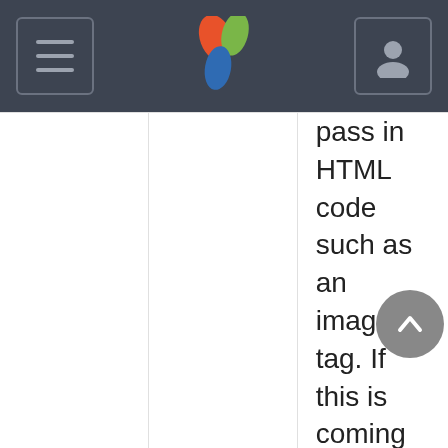[Navigation bar with hamburger menu, Yoast-style logo, and user icon]
pass in HTML code such as an image tag. If this is coming from end users, you should encode to prevent XSS attacks. When this option is specified,